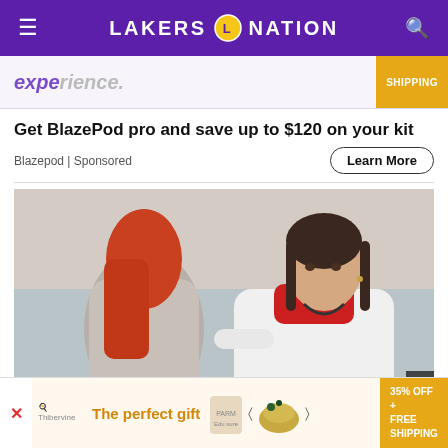LAKERS NATION
[Figure (photo): Partial ad banner showing text 'expe...' with product images and SHIPPING badge]
Get BlazePod pro and save up to $120 on your kit
Blazepod | Sponsored
Learn More
[Figure (photo): Doctor in white coat examining a red-haired woman's back, both seated]
[Figure (photo): Bottom ad strip: 'The perfect gift' with food product images, 35% OFF + FREE SHIPPING badge]